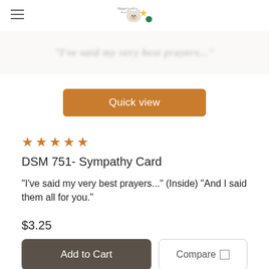[Logo: Maggies with a Bear]
[Figure (illustration): Blurred italic script text reading: I've said my very best prayers...]
Quick view
★★★★★
DSM 751- Sympathy Card
"I've said my very best prayers..." (Inside) "And I said them all for you."
$3.25
Add to Cart
Compare